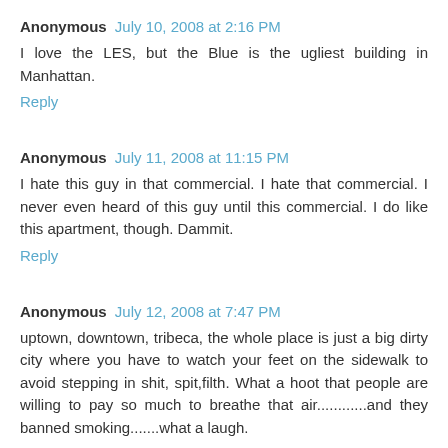Anonymous July 10, 2008 at 2:16 PM
I love the LES, but the Blue is the ugliest building in Manhattan.
Reply
Anonymous July 11, 2008 at 11:15 PM
I hate this guy in that commercial. I hate that commercial. I never even heard of this guy until this commercial. I do like this apartment, though. Dammit.
Reply
Anonymous July 12, 2008 at 7:47 PM
uptown, downtown, tribeca, the whole place is just a big dirty city where you have to watch your feet on the sidewalk to avoid stepping in shit, spit,filth. What a hoot that people are willing to pay so much to breathe that air............and they banned smoking.......what a laugh.